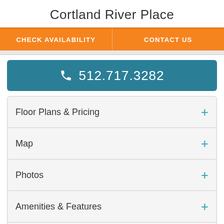Cortland River Place
CHECK AVAILABILITY | CONTACT US
512.717.3282
Floor Plans & Pricing
Map
Photos
Amenities & Features
School Information
Pet Policies